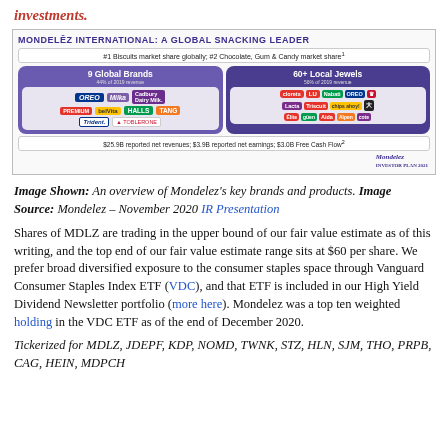investments.
[Figure (infographic): Mondelez International: A Global Snacking Leader infographic showing 9 Global Brands and 60+ Local Jewels including Oreo, Milka, Cadbury Dairy Milk, belVita, Halls, Tang, Trident, Toblerone, and local brand logos. Also shows: #1 Biscuits market share globally; #2 Chocolate, Gum & Candy market share. $25.9B reported net revenues; $3.9B reported net earnings; $3.0B Free Cash Flow.]
Image Shown: An overview of Mondelez's key brands and products. Image Source: Mondelez – November 2020 IR Presentation
Shares of MDLZ are trading in the upper bound of our fair value estimate as of this writing, and the top end of our fair value estimate range sits at $60 per share. We prefer broad diversified exposure to the consumer staples space through Vanguard Consumer Staples Index ETF (VDC), and that ETF is included in our High Yield Dividend Newsletter portfolio (more here). Mondelez was a top ten weighted holding in the VDC ETF as of the end of December 2020.
Tickerized for MDLZ, JDEPF, KDP, NOMD, TWNK, STZ, HLN, SJM, THO, PRPB, CAG, HEIN, MDPCH